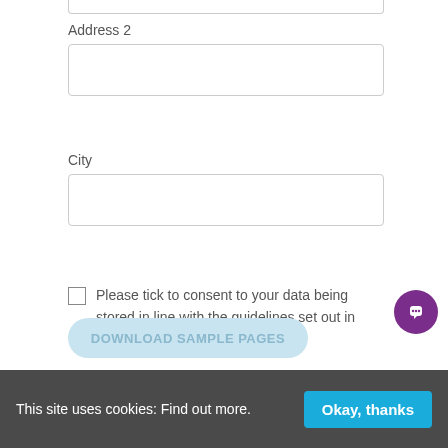Address 2
City
Please tick to consent to your data being stored in line with the guidelines set out in our privacy policy
DOWNLOAD SAMPLE PAGES
This site uses cookies: Find out more.
Okay, thanks